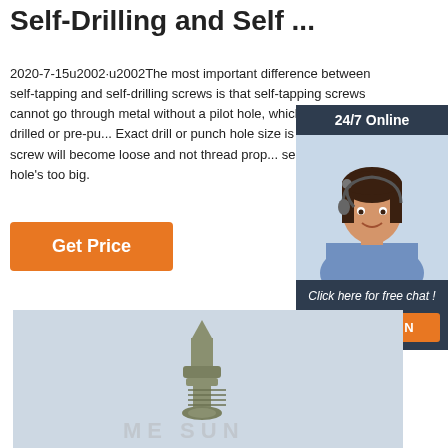Self-Drilling and Self ...
2020-7-15u2002·u2002The most important difference between self-tapping and self-drilling screws is that self-tapping screws cannot go through metal without a pilot hole, which must be pre-drilled or pre-pu... Exact drill or punch hole size is also importan... screw will become loose and not thread prop... securely if the hole's too big.
[Figure (illustration): Customer service representative widget with '24/7 Online' header, photo of woman with headset, 'Click here for free chat!' text, and orange QUOTATION button]
[Figure (photo): A self-drilling screw product photo on light blue/grey background with MEESUN watermark text]
Get Price
Click here for free chat !
QUOTATION